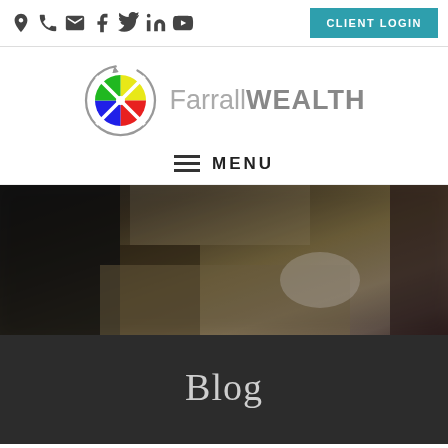Social icons and CLIENT LOGIN button
[Figure (logo): Farrall Wealth logo: circular arrows with colored quadrant icon and text 'Farrall WEALTH']
≡  MENU
[Figure (photo): Blurred background photo of a laptop on a desk]
Blog